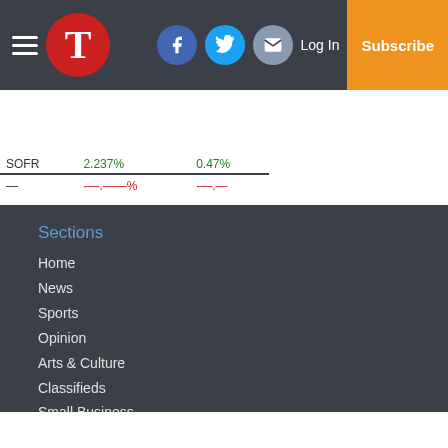Navigation bar with logo T, social icons (Facebook, Twitter, Email), Log In, Subscribe
| SOFR | 2.237% | 0.47% |
| — | —.——% | —.—— |
Sections
Home
News
Sports
Opinion
Arts & Culture
Classifieds
Small Business